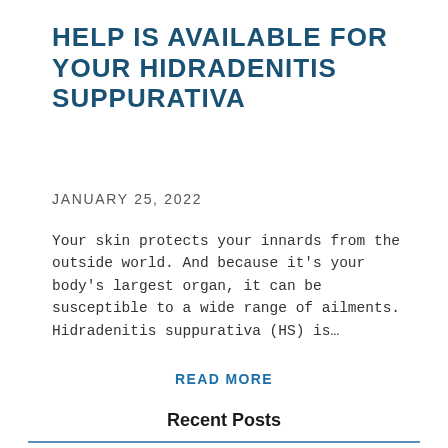HELP IS AVAILABLE FOR YOUR HIDRADENITIS SUPPURATIVA
JANUARY 25, 2022
Your skin protects your innards from the outside world. And because it’s your body’s largest organ, it can be susceptible to a wide range of ailments. Hidradenitis suppurativa (HS) is…
READ MORE
Recent Posts